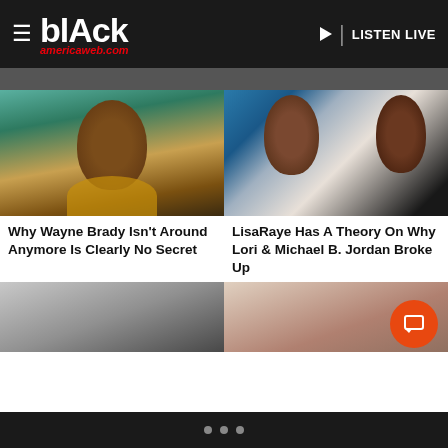blAck americaweb.com — LISTEN LIVE
[Figure (photo): Headshot of Wayne Brady, bald Black man with goatee wearing yellow jacket, against teal background]
Why Wayne Brady Isn't Around Anymore Is Clearly No Secret
[Figure (photo): LisaRaye and Michael B. Jordan photographed together; LisaRaye in white dress with pearls, Michael B. Jordan in black tuxedo]
LisaRaye Has A Theory On Why Lori & Michael B. Jordan Broke Up
[Figure (photo): Partial image of a man with dark hair (bottom portion cropped)]
[Figure (photo): Partial image of a woman in floral/print outfit (bottom portion cropped)]